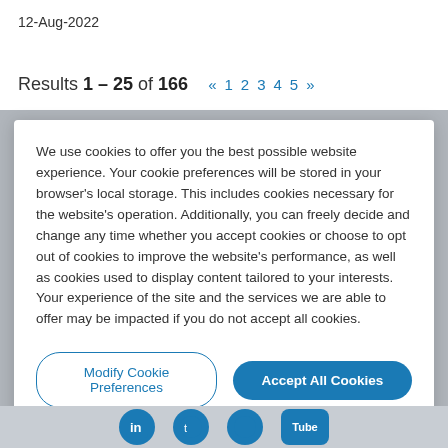12-Aug-2022
Results 1 – 25 of 166  « 1 2 3 4 5 »
We use cookies to offer you the best possible website experience. Your cookie preferences will be stored in your browser's local storage. This includes cookies necessary for the website's operation. Additionally, you can freely decide and change any time whether you accept cookies or choose to opt out of cookies to improve the website's performance, as well as cookies used to display content tailored to your interests. Your experience of the site and the services we are able to offer may be impacted if you do not accept all cookies.
Modify Cookie Preferences
Accept All Cookies